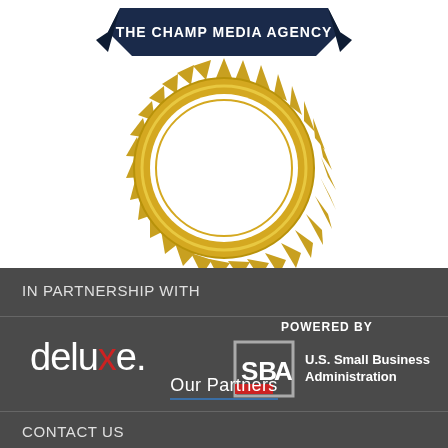[Figure (logo): The Champ Media Agency medal/badge logo — dark navy ribbon banner at top with text 'THE CHAMP MEDIA AGENCY', gold/yellow sunburst seal with circular ring]
IN PARTNERSHIP WITH
[Figure (logo): Deluxe company logo in white text with red 'x' and registered trademark symbol]
POWERED BY
[Figure (logo): U.S. Small Business Administration (SBA) logo with square bracket emblem and text 'U.S. Small Business Administration']
Our Partners
CONTACT US